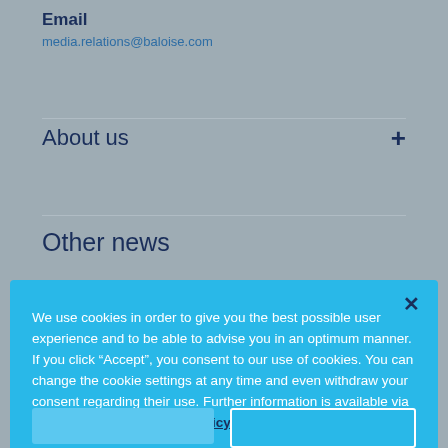Email
media.relations@baloise.com
About us
Other news
We use cookies in order to give you the best possible user experience and to be able to advise you in an optimum manner. If you click “Accept”, you consent to our use of cookies. You can change the cookie settings at any time and even withdraw your consent regarding their use. Further information is available via the following link: Cookie Policy